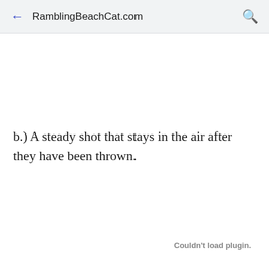← RamblingBeachCat.com 🔍
b.) A steady shot that stays in the air after they have been thrown.
Couldn't load plugin.